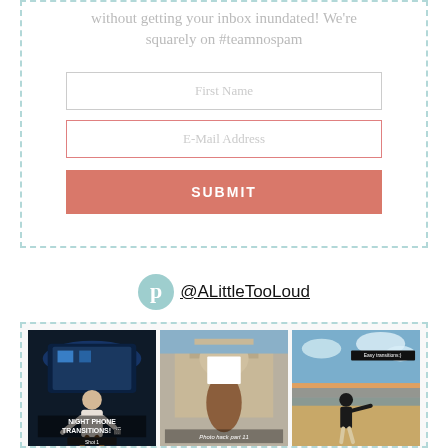without getting your inbox inundated! We're squarely on #teamnospam
[Figure (screenshot): Email signup form with First Name field, E-Mail Address field, and a salmon-colored SUBMIT button inside a dashed border box]
@ALittleTooLoud
[Figure (photo): Grid of three social media video thumbnail images: Night Phone Transitions, Photo hack part 11, Easy transitions beach video]